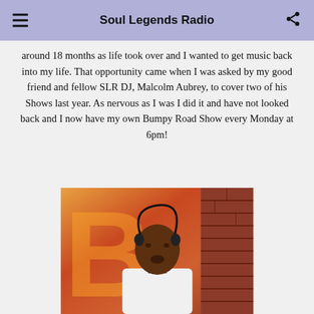Soul Legends Radio
around 18 months as life took over and I wanted to get music back into my life. That opportunity came when I was asked by my good friend and fellow SLR DJ, Malcolm Aubrey, to cover two of his Shows last year. As nervous as I was I did it and have not looked back and I now have my own Bumpy Road Show every Monday at 6pm!
[Figure (photo): A person wearing a white shirt and headphones performing or speaking, with a colorful orange/red graffiti-style background and brick wall]